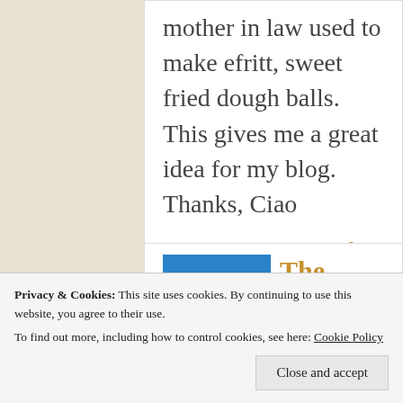mother in law used to make efritt, sweet fried dough balls. This gives me a great idea for my blog. Thanks, Ciao
http://www.wendysfavoriteplace.blogs
The Chef In My Head
01 23 2011 AT 15:36
Privacy & Cookies: This site uses cookies. By continuing to use this website, you agree to their use.
To find out more, including how to control cookies, see here: Cookie Policy
Close and accept